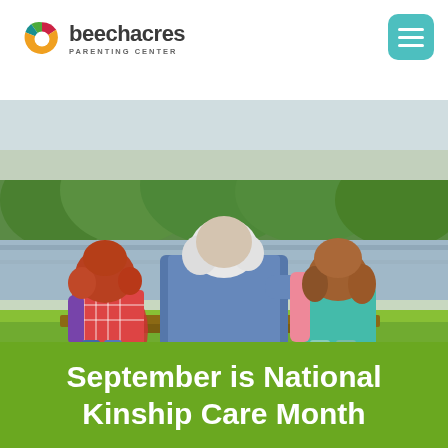[Figure (logo): Beech Acres Parenting Center logo with colorful circular icon and text]
[Figure (photo): An elderly person with white hair sitting on a bench outdoors between two young girls, viewed from behind, facing a lake with green trees in the background]
September is National Kinship Care Month